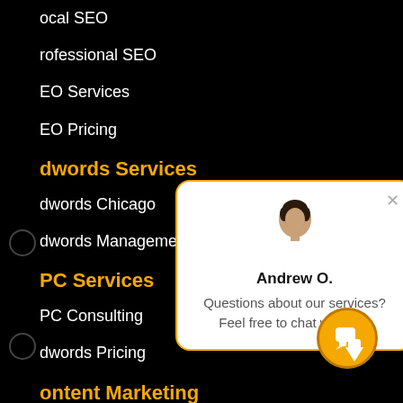ocal SEO
rofessional SEO
EO Services
EO Pricing
dwords Services
dwords Chicago
dwords Management
PC Services
PC Consulting
dwords Pricing
ontent Marketing
ontent Creation
ontent Distribution
[Figure (screenshot): Chat popup with avatar of Andrew O., name label, and message 'Questions about our services? Feel free to chat with me.' with orange border and close button]
Andrew O.
Questions about our services? Feel free to chat with me.